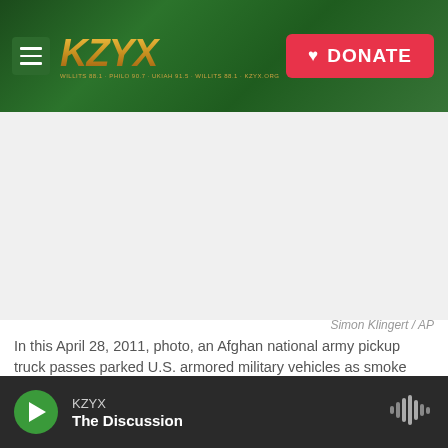KZYX — DONATE
[Figure (photo): Blank/white image area representing a news photo placeholder]
Simon Klingert / AP
In this April 28, 2011, photo, an Afghan national army pickup truck passes parked U.S. armored military vehicles as smoke rises from a fire in a trash burn pit at Forward Operating Base Caferetta Nawzad, Helmand province south of Kabul, Afghanistan.
WASHINGTON — The House is poised to pass
KZYX — The Discussion